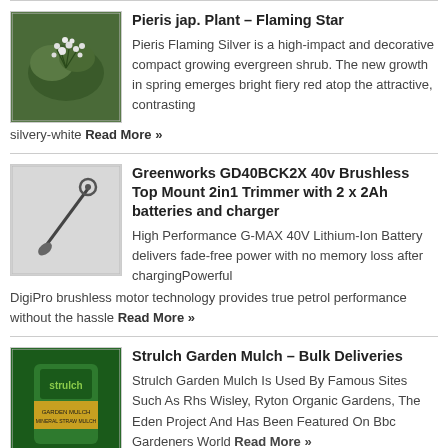[Figure (photo): Pieris plant photo showing white flower clusters against dark background]
Pieris jap. Plant – Flaming Star
Pieris Flaming Silver is a high-impact and decorative compact growing evergreen shrub. The new growth in spring emerges bright fiery red atop the attractive, contrasting silvery-white Read More »
[Figure (photo): Greenworks long-handled trimmer tool illustration on white background]
Greenworks GD40BCK2X 40v Brushless Top Mount 2in1 Trimmer with 2 x 2Ah batteries and charger
High Performance G-MAX 40V Lithium-Ion Battery delivers fade-free power with no memory loss after chargingPowerful DigiPro brushless motor technology provides true petrol performance without the hassle Read More »
[Figure (photo): Strulch garden mulch bag with green and yellow label]
Strulch Garden Mulch – Bulk Deliveries
Strulch Garden Mulch Is Used By Famous Sites Such As Rhs Wisley, Ryton Organic Gardens, The Eden Project And Has Been Featured On Bbc Gardeners World Read More »
Petunia Surfinia Classic Trailing Mix 4 Pre-Planted